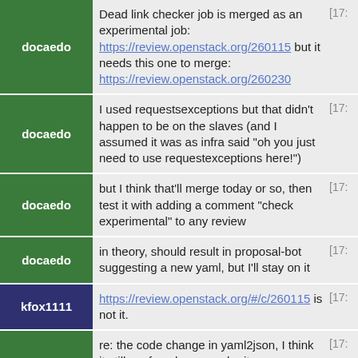docaedo: Dead link checker job is merged as an experimental job: https://review.openstack.org/260115 but it needs this one to merge: https://review.openstack.org/260230 [17:
docaedo: I used requestsexceptions but that didn't happen to be on the slaves (and I assumed it was as infra said "oh you just need to use requestexceptions here!") [17:
docaedo: but I think that'll merge today or so, then test it with adding a comment "check experimental" to any review [17:
docaedo: in theory, should result in proposal-bot suggesting a new yaml, but I'll stay on it [17:
kfox1111: https://review.openstack.org/#/c/260115 is not it. [17:
docaedo: re: the code change in yaml2json, I think it still confused me, maybe it was suggested in the wrong place? If the idea was just to shorten the script by two lines, I'm kind of .. eh :)  But maybe there's a different/better reason [17:
kfox1111: just easier to read to me. just does the filtering in one spot. [17: